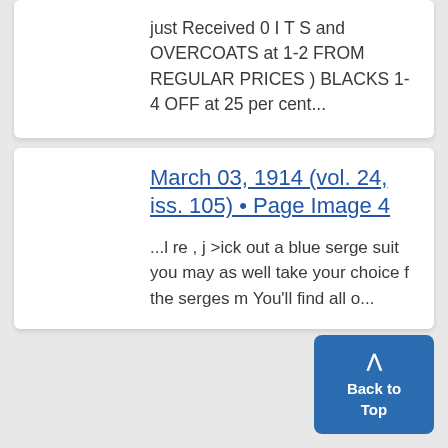just Received OITS and OVERCOATS at 1-2 FROM REGULAR PRICES ) BLACKS 1-4 OFF at 25 per cent...
March 03, 1914 (vol. 24, iss. 105) • Page Image 4
...l re , j >ick out a blue serge suit you may as well take your choice f the serges m You'll find all o...